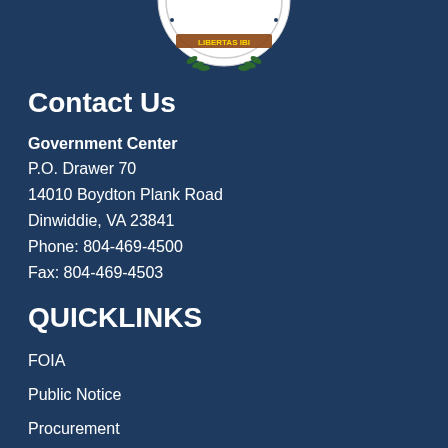[Figure (logo): Partial government seal/logo of Dinwiddie County Virginia, showing bottom portion with 'LIBERTAS IBI' banner and green laurel branches on white circular background]
Contact Us
Government Center
P.O. Drawer 70
14010 Boydton Plank Road
Dinwiddie, VA 23841
Phone: 804-469-4500
Fax: 804-469-4503
QUICKLINKS
FOIA
Public Notice
Procurement
Board of Supervisors
Departments
Online Payments